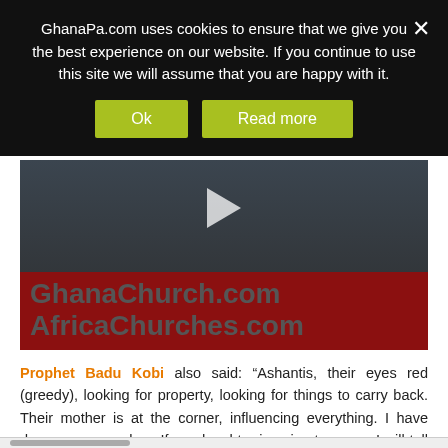GhanaPa.com uses cookies to ensure that we give you the best experience on our website. If you continue to use this site we will assume that you are happy with it.
[Figure (screenshot): Video thumbnail showing a crowd scene with a play button overlay and a red banner reading 'GhanaChurch.com AfricaChurches.com']
Prophet Badu Kobi also said: “Ashantis, their eyes red (greedy), looking for property, looking for things to carry back. Their mother is at the corner, influencing everything. I have done my research…. If my daughter is going to marry, I will tell her, if you want to go and be driven back, go and behave like an Ashanti girl.